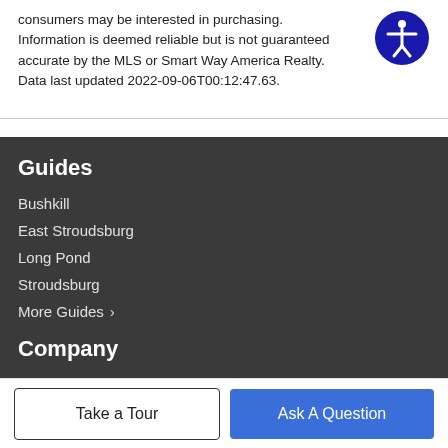consumers may be interested in purchasing. Information is deemed reliable but is not guaranteed accurate by the MLS or Smart Way America Realty. Data last updated 2022-09-06T00:12:47.63.
Guides
Bushkill
East Stroudsburg
Long Pond
Stroudsburg
More Guides ›
Company
Meet The Team
Our Blog
Take a Tour
Ask A Question